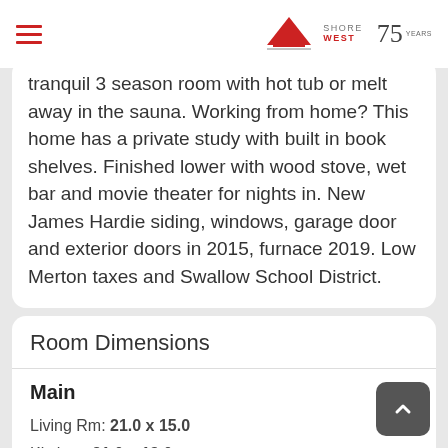Shorewest 75 Years
tranquil 3 season room with hot tub or melt away in the sauna. Working from home? This home has a private study with built in book shelves. Finished lower with wood stove, wet bar and movie theater for nights in. New James Hardie siding, windows, garage door and exterior doors in 2015, furnace 2019. Low Merton taxes and Swallow School District.
Room Dimensions
Main
Living Rm: 21.0 x 15.0
Kitchen: 21.0 x 13.0